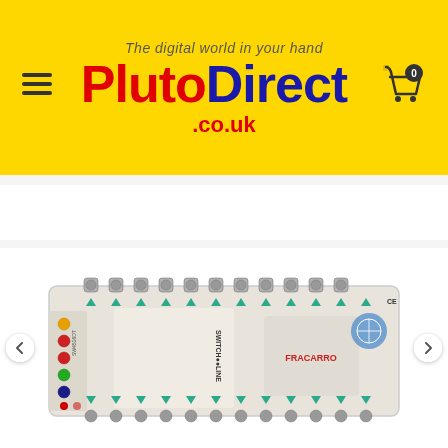[Figure (logo): PlutoDirect.co.uk website header banner with yellow background. Top tagline reads 'The digital world in your hand'. Below is a hamburger menu icon on the left, 'PlutoDirect' logo in the center (Pluto in red, Direct in dark blue), a shopping cart icon with '0' badge on the right. Below the logo is '.co.uk' in red text.]
[Figure (screenshot): Search bar with rounded border in yellow, placeholder text 'Search', and yellow search button with magnifying glass icon on the right.]
[Figure (photo): Product photo of a Fracarro SW4516DT multiswitch device (Switch Line series). The unit is white/beige rectangular box with multiple F-connector ports along the top and bottom edges, colored arrow buttons, LED indicators in red/yellow/green, and a label panel showing 'SWITCH LINE' branding and 'FRACARRO' logo. Navigation arrows on left and right sides of the image.]